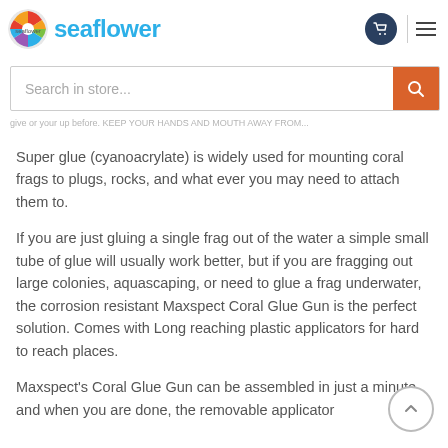seaflower
The Maxspect Coral Gun is a unique corrosion free device that... Consistency Gel great for... frags that you need to stand vertical even under water
Super glue (cyanoacrylate) is widely used for mounting coral frags to plugs, rocks, and what ever you may need to attach them to.
If you are just gluing a single frag out of the water a simple small tube of glue will usually work better, but if you are fragging out large colonies, aquascaping, or need to glue a frag underwater, the corrosion resistant Maxspect Coral Glue Gun is the perfect solution. Comes with Long reaching plastic applicators for hard to reach places.
Maxspect's Coral Glue Gun can be assembled in just a minute, and when you are done, the removable applicator